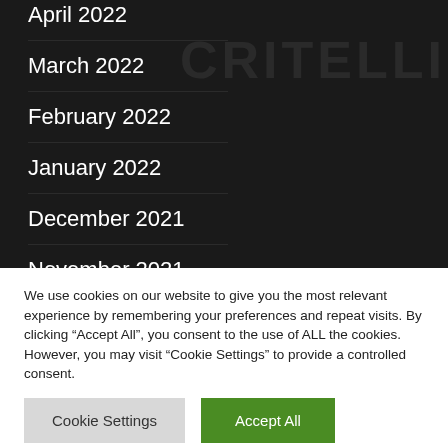April 2022
March 2022
February 2022
January 2022
December 2021
November 2021
October 2021
September 2021
We use cookies on our website to give you the most relevant experience by remembering your preferences and repeat visits. By clicking “Accept All”, you consent to the use of ALL the cookies. However, you may visit "Cookie Settings" to provide a controlled consent.
Cookie Settings | Accept All